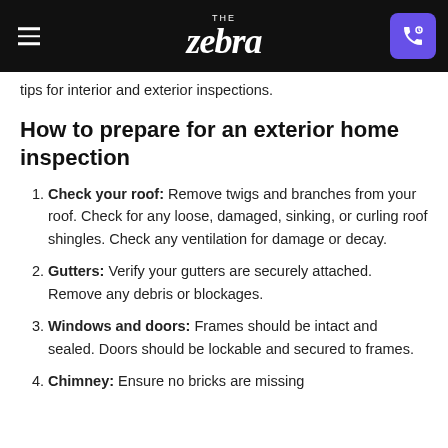THE zebra [navigation header with phone button]
tips for interior and exterior inspections.
How to prepare for an exterior home inspection
Check your roof: Remove twigs and branches from your roof. Check for any loose, damaged, sinking, or curling roof shingles. Check any ventilation for damage or decay.
Gutters: Verify your gutters are securely attached. Remove any debris or blockages.
Windows and doors: Frames should be intact and sealed. Doors should be lockable and secured to frames.
Chimney: Ensure no bricks are missing